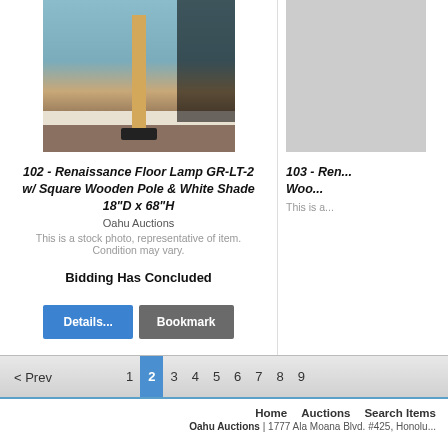[Figure (photo): Photo of a Renaissance Floor Lamp with wooden pole and white shade on a carpeted floor against a blue wall]
102 - Renaissance Floor Lamp GR-LT-2 w/ Square Wooden Pole & White Shade 18"D x 68"H
Oahu Auctions
This is a stock photo, representative of item. Condition may vary.
Bidding Has Concluded
[Figure (photo): Partial view of item 103 - Renaissance floor lamp, image cut off on right side]
103 - Ren... Woo...
This is a...
Home   Auctions   Search Items
Oahu Auctions | 1777 Ala Moana Blvd. #425, Honolu...